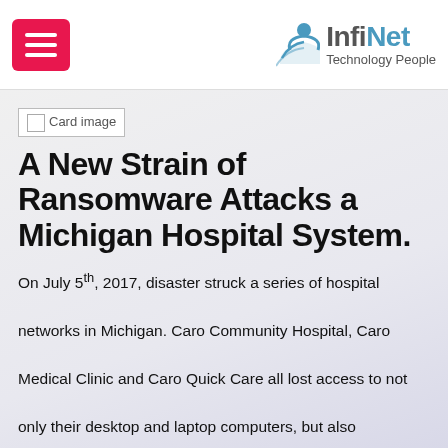[Figure (logo): InfiNet Technology People logo with blue icon and hamburger menu button]
[Figure (photo): Card image placeholder (broken image icon)]
A New Strain of Ransomware Attacks a Michigan Hospital System.
On July 5th, 2017, disaster struck a series of hospital networks in Michigan. Caro Community Hospital, Caro Medical Clinic and Caro Quick Care all lost access to not only their desktop and laptop computers, but also